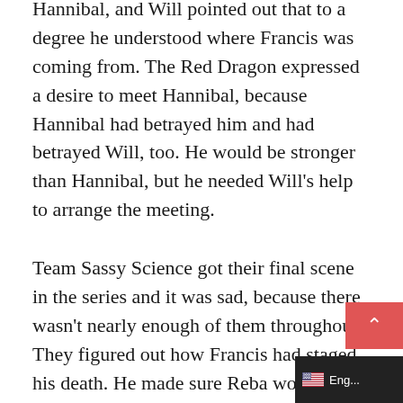Hannibal, and Will pointed out that to a degree he understood where Francis was coming from. The Red Dragon expressed a desire to meet Hannibal, because Hannibal had betrayed him and had betrayed Will, too. He would be stronger than Hannibal, but he needed Will's help to arrange the meeting.
Team Sassy Science got their final scene in the series and it was sad, because there wasn't nearly enough of them throughout. They figured out how Francis had staged his death. He made sure Reba would feel the head, and had left the body of a man he'd killed there instead of his own to convince everyone dead. Will pointed out that since the D...